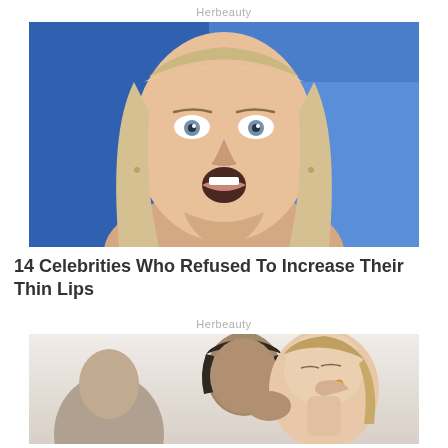Herbeauty
[Figure (photo): Close-up photo of a blonde woman with blue eyes and an open-mouthed surprised expression, against a blue blurred background]
14 Celebrities Who Refused To Increase Their Thin Lips
Herbeauty
[Figure (photo): Photo of a couple in an intimate moment; a man kissing a woman's neck, with other people visible in the background]